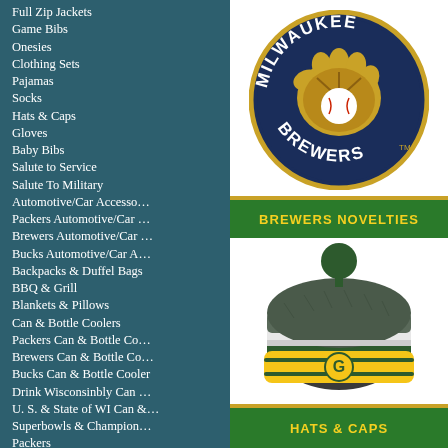Full Zip Jackets
Game Bibs
Onesies
Clothing Sets
Pajamas
Socks
Hats & Caps
Gloves
Baby Bibs
Salute to Service
Salute To Military
Automotive/Car Accesso…
Packers Automotive/Car …
Brewers Automotive/Car …
Bucks Automotive/Car A…
Backpacks & Duffel Bags
BBQ & Grill
Blankets & Pillows
Can & Bottle Coolers
Packers Can & Bottle Co…
Brewers Can & Bottle Co…
Bucks Can & Bottle Cooler
Drink Wisconsinbly Can …
U. S. & State of WI Can &…
Superbowls & Champion…
Packers
Brewers
Bucks
+ VIEW ALL CATEGORIES
[Figure (logo): Milwaukee Brewers circular logo with baseball glove and ball]
BREWERS NOVELTIES
[Figure (photo): Green Bay Packers pom-pom winter hat with green, white and yellow stripes]
HATS & CAPS